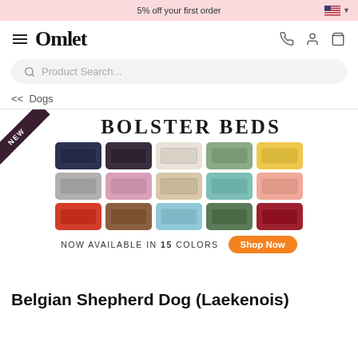5% off your first order
[Figure (screenshot): Omlet website navigation bar with hamburger menu, Omlet logo, phone icon, user icon, basket icon]
Product Search...
<< Dogs
[Figure (illustration): Bolster Beds promotional banner with NEW badge, title BOLSTER BEDS, 15 color variants of dog bolster beds displayed in 3 rows of 5, and a Shop Now button with text NOW AVAILABLE IN 15 COLORS]
Belgian Shepherd Dog (Laekenois)